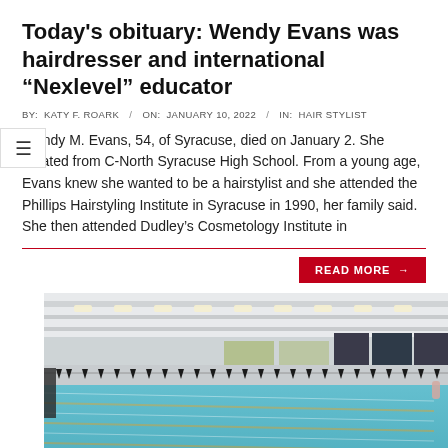Today's obituary: Wendy Evans was hairdresser and international “Nexlevel” educator
BY:  KATY F. ROARK  /  ON:  JANUARY 10, 2022  /  IN:  HAIR STYLIST
Wendy M. Evans, 54, of Syracuse, died on January 2. She graduated from C-North Syracuse High School. From a young age, Evans knew she wanted to be a hairstylist and she attended the Phillips Hairstyling Institute in Syracuse in 1990, her family said. She then attended Dudley’s Cosmetology Institute in
READ MORE →
[Figure (photo): Indoor swimming pool with lane markers, black triangular pennant flags strung above the water, white ceiling with recessed lighting, and large windows on the far wall. A swimmer is visible at the far right edge of the pool deck.]